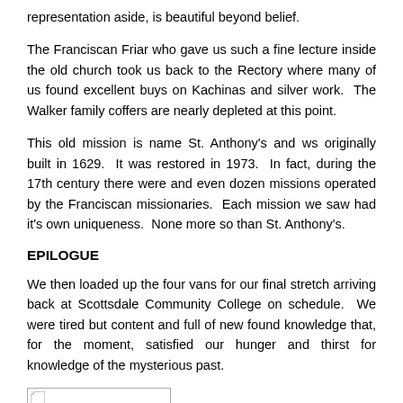representation aside, is beautiful beyond belief.
The Franciscan Friar who gave us such a fine lecture inside the old church took us back to the Rectory where many of us found excellent buys on Kachinas and silver work. The Walker family coffers are nearly depleted at this point.
This old mission is name St. Anthony's and ws originally built in 1629. It was restored in 1973. In fact, during the 17th century there were and even dozen missions operated by the Franciscan missionaries. Each mission we saw had it's own uniqueness. None more so than St. Anthony's.
EPILOGUE
We then loaded up the four vans for our final stretch arriving back at Scottsdale Community College on schedule. We were tired but content and full of new found knowledge that, for the moment, satisfied our hunger and thirst for knowledge of the mysterious past.
[Figure (photo): Broken/unloaded image placeholder at bottom of page]